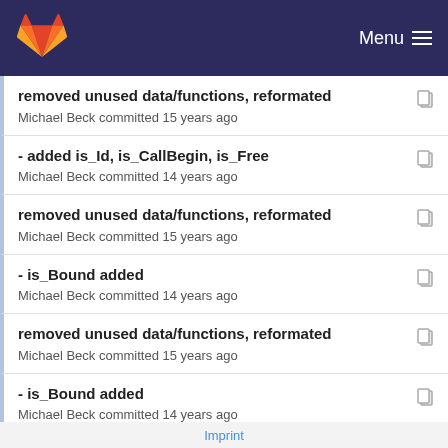GitLab Menu
removed unused data/functions, reformated
Michael Beck committed 15 years ago
- added is_Id, is_CallBegin, is_Free
Michael Beck committed 14 years ago
removed unused data/functions, reformated
Michael Beck committed 15 years ago
- is_Bound added
Michael Beck committed 14 years ago
removed unused data/functions, reformated
Michael Beck committed 15 years ago
- is_Bound added
Michael Beck committed 14 years ago
removed unused data/functions, reformated
Michael Beck committed 15 years ago
Imprint